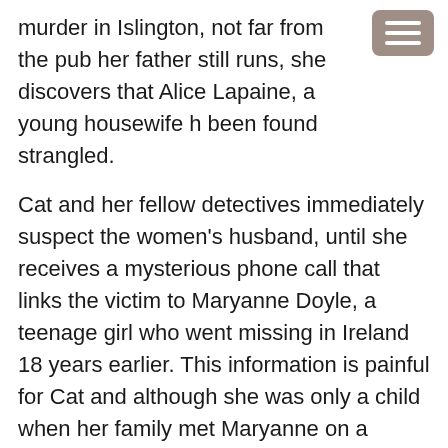murder in Islington, not far from the pub her father still runs, she discovers that Alice Lapaine, a young housewife h been found strangled.
Cat and her fellow detectives immediately suspect the women's husband, until she receives a mysterious phone call that links the victim to Maryanne Doyle, a teenage girl who went missing in Ireland 18 years earlier. This information is painful for Cat and although she was only a child when her family met Maryanne on a family vacation, she intuitively knows that her father wasn't telling the truth when he denied knowing anything about the girl's disappearance.
“He said most kids my age would . . . start bawling to go home. I told him I wasn’t scared of anything when he was with me and he’d ruffle my curls and said that was right.